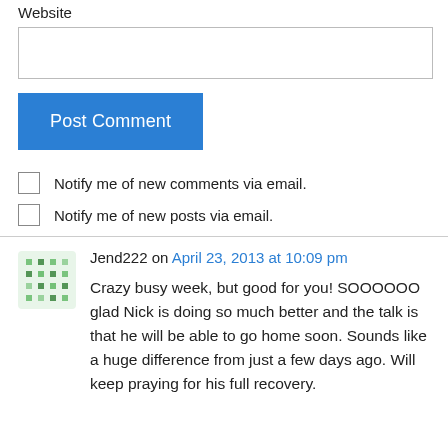Website
Post Comment
Notify me of new comments via email.
Notify me of new posts via email.
Jend222 on April 23, 2013 at 10:09 pm
Crazy busy week, but good for you! SOOOOOO glad Nick is doing so much better and the talk is that he will be able to go home soon. Sounds like a huge difference from just a few days ago. Will keep praying for his full recovery.